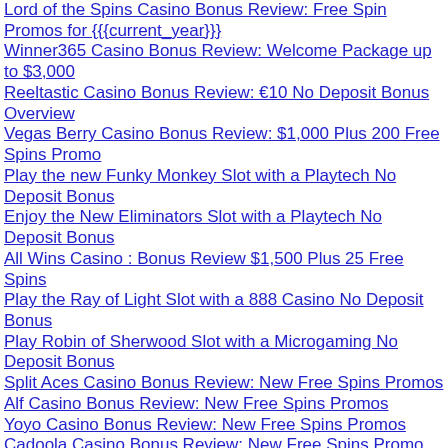Lord of the Spins Casino Bonus Review: Free Spin Promos for {{{current_year}}}
Winner365 Casino Bonus Review: Welcome Package up to $3,000
Reeltastic Casino Bonus Review: €10 No Deposit Bonus Overview
Vegas Berry Casino Bonus Review: $1,000 Plus 200 Free Spins Promo
Play the new Funky Monkey Slot with a Playtech No Deposit Bonus
Enjoy the New Eliminators Slot with a Playtech No Deposit Bonus
All Wins Casino : Bonus Review $1,500 Plus 25 Free Spins
Play the Ray of Light Slot with a 888 Casino No Deposit Bonus
Play Robin of Sherwood Slot with a Microgaming No Deposit Bonus
Split Aces Casino Bonus Review: New Free Spins Promos
Alf Casino Bonus Review: New Free Spins Promos
Yoyo Casino Bonus Review: New Free Spins Promos
Cadoola Casino Bonus Review: New Free Spins Promo
Play Treasure of Lamps Slot with a Playtech No Deposit Bonus
Easybet Casino Bonus Review: No Deposit Free Spins Codes
New No Deposit Bonus for Microgaming's Rainbrew Slot
Cherry Jackpot Casino Bonus Review : New Free Spins Promos
CasinoMax Bonus Review : Free Spins Bonus Promo
Roaring 21 Casino Bonus Review : Free Spins Casino Promo
Max Fun Casino Bonus Review : No Deposit Free Spins Promo
Get Your No Deposit Bonus for Playtech's New Buckle-Up Slot
Alf Berry Casino Bonus Review: $300 Plus 25 Free Spins